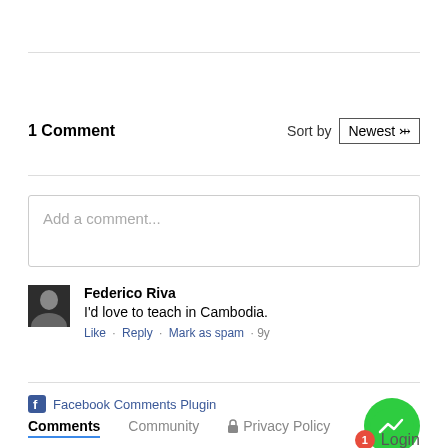1 Comment
Sort by Newest
Add a comment...
Federico Riva
I'd love to teach in Cambodia.
Like · Reply · Mark as spam · 9y
Facebook Comments Plugin
Comments  Community  Privacy Policy  Login